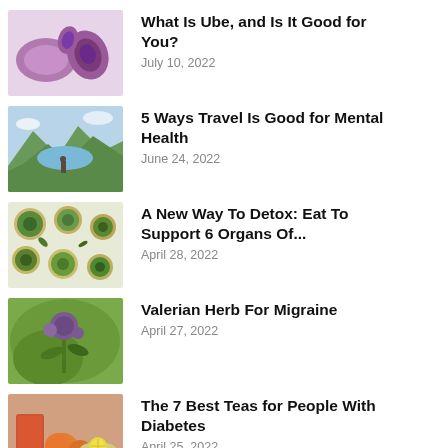[Figure (photo): Purple ube root vegetable cut open showing purple interior on light purple background]
What Is Ube, and Is It Good for You?
July 10, 2022
[Figure (photo): Person standing on hillside looking at mountain lake with green landscape]
5 Ways Travel Is Good for Mental Health
June 24, 2022
[Figure (photo): Close-up of green herbs and plants in small pots viewed from above]
A New Way To Detox: Eat To Support 6 Organs Of...
April 28, 2022
[Figure (photo): Valerian herb plant with purple flower buds on green background]
Valerian Herb For Migraine
April 27, 2022
[Figure (photo): Various teas and fruits including red tea in glass and cup of tea with lemon]
The 7 Best Teas for People With Diabetes
April 25, 2022